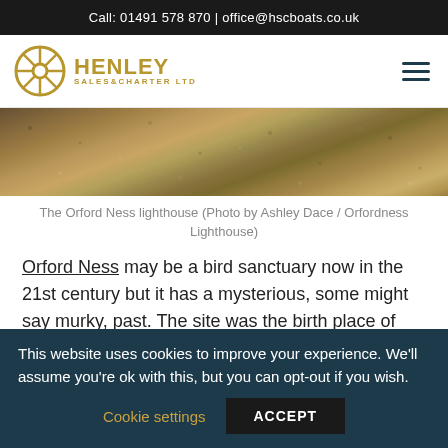Call: 01491 578 870 | office@hscboats.co.uk
[Figure (logo): Henley Sales & Charter Ltd logo with ship wheel icon]
[Figure (photo): Close-up photograph of gravel/shingle on Orford Ness]
The Orford Ness lighthouse (Photo by Ashley Dace / Orfordness Lighthouse)
Orford Ness may be a bird sanctuary now in the 21st century but it has a mysterious, some might say murky, past. The site was the birth place of radar,
This website uses cookies to improve your experience. We'll assume you're ok with this, but you can opt-out if you wish.